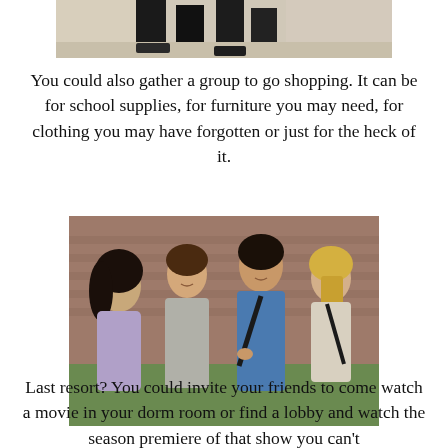[Figure (photo): Cropped photo showing legs and feet of a person walking, carrying what appears to be a bag or books]
You could also gather a group to go shopping. It can be for school supplies, for furniture you may need, for clothing you may have forgotten or just for the heck of it.
[Figure (photo): Group of four college students (two women and two men) standing outside a brick building, smiling and talking to each other]
Last resort? You could invite your friends to come watch a movie in your dorm room or find a lobby and watch the season premiere of that show you can't